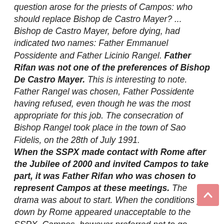question arose for the priests of Campos: who should replace Bishop de Castro Mayer? ... Bishop de Castro Mayer, before dying, had indicated two names: Father Emmanuel Possidente and Father Licinio Rangel. Father Rifan was not one of the preferences of Bishop De Castro Mayer. This is interesting to note. Father Rangel was chosen, Father Possidente having refused, even though he was the most appropriate for this job. The consecration of Bishop Rangel took place in the town of Sao Fidelis, on the 28th of July 1991.
When the SSPX made contact with Rome after the Jubilee of 2000 and invited Campos to take part, it was Father Rifan who was chosen to represent Campos at these meetings. The drama was about to start. When the conditions put down by Rome appeared unacceptable to the SSPX, Campos, however preferred not to go backwards. What is the